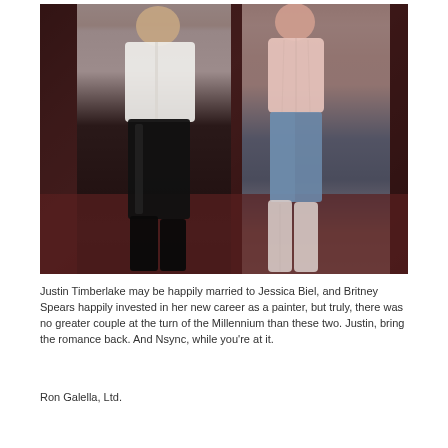[Figure (photo): A man and woman standing together at what appears to be a red carpet event. The man is on the left wearing a white button-up shirt and black leather pants. The woman is on the right wearing a pink/blush corset-style top, jeans, and tall light-colored boots. The background is dark.]
Justin Timberlake may be happily married to Jessica Biel, and Britney Spears happily invested in her new career as a painter, but truly, there was no greater couple at the turn of the Millennium than these two. Justin, bring the romance back. And Nsync, while you're at it.
Ron Galella, Ltd.